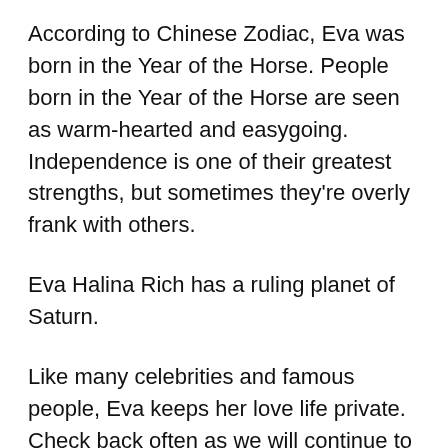According to Chinese Zodiac, Eva was born in the Year of the Horse. People born in the Year of the Horse are seen as warm-hearted and easygoing. Independence is one of their greatest strengths, but sometimes they're overly frank with others.
Eva Halina Rich has a ruling planet of Saturn.
Like many celebrities and famous people, Eva keeps her love life private. Check back often as we will continue to update this page with new relationship details. Let's take a look at Eva Halina Rich past relationships, exes and previous hookups.